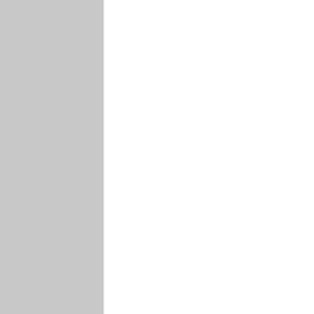they overuse something what isn't even his real prime motivation. But at least Gothem TV series bring that other part of his lore most people don't know, even if it is core part of